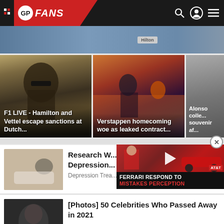GP FANS
[Figure (photo): Partial view of F1 car with Hilton branding]
[Figure (photo): Lewis Hamilton wearing sunglasses]
F1 LIVE - Hamilton and Vettel escape sanctions at Dutch...
[Figure (photo): Verstappen at Dutch homecoming with orange crowd]
Verstappen homecoming woe as leaked contract...
[Figure (photo): Partial card - Alonso collecting souvenir]
Alonso colle... souvenir af...
[Figure (photo): Person lying down, depression research ad]
Research W... Depression...
Depression Trea...
[Figure (screenshot): Video overlay: Ferrari respond to mistakes perception with play button]
[Figure (photo): Celebrity photo - person with dark hair]
[Photos] 50 Celebrities Who Passed Away in 2021